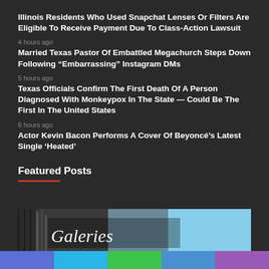Illinois Residents Who Used Snapchat Lenses Or Filters Are Eligible To Receive Payment Due To Class-Action Lawsuit
4 hours ago
Married Texas Pastor Of Embattled Megachurch Steps Down Following “Embarrassing” Instagram DMs
5 hours ago
Texas Officials Confirm The First Death Of A Person Diagnosed With Monkeypox In The State — Could Be The First In The United States
6 hours ago
Actor Kevin Bacon Performs A Cover Of Beyoncé’s Latest Single ‘Heated’
Featured Posts
[Figure (photo): Photo showing a building with 'Galeries' signage, urban street scene with blue sky]